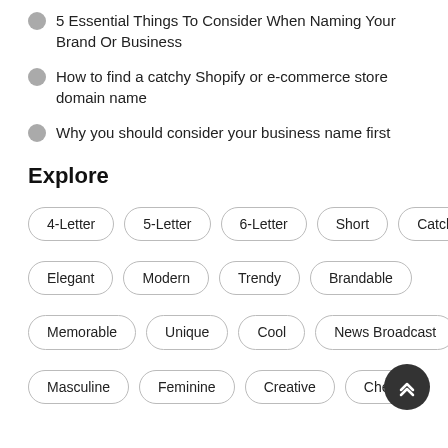5 Essential Things To Consider When Naming Your Brand Or Business
How to find a catchy Shopify or e-commerce store domain name
Why you should consider your business name first
Explore
4-Letter
5-Letter
6-Letter
Short
Catchy
Elegant
Modern
Trendy
Brandable
Memorable
Unique
Cool
News Broadcast
Masculine
Feminine
Creative
Cheap